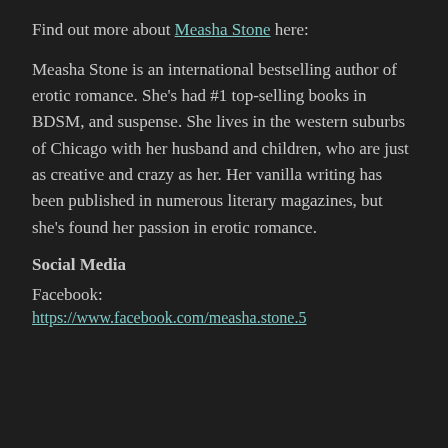Find out more about Measha Stone here:
Measha Stone is an international bestselling author of erotic romance. She's had #1 top-selling books in BDSM, and suspense. She lives in the western suburbs of Chicago with her husband and children, who are just as creative and crazy as her. Her vanilla writing has been published in numerous literary magazines, but she's found her passion in erotic romance.
Social Media
Facebook:
https://www.facebook.com/measha.stone.5